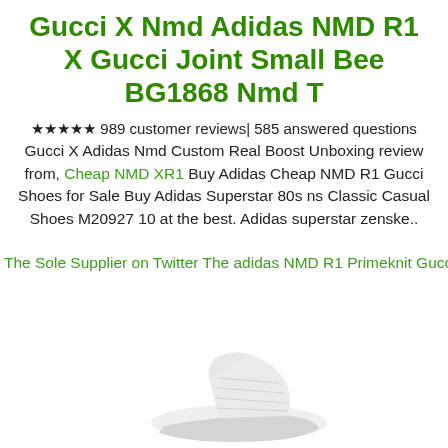Gucci X Nmd Adidas NMD R1 X Gucci Joint Small Bee BG1868 Nmd T
★★★★★ 989 customer reviews| 585 answered questions
Gucci X Adidas Nmd Custom Real Boost Unboxing review from, Cheap NMD XR1 Buy Adidas Cheap NMD R1 Gucci Shoes for Sale Buy Adidas Superstar 80s ns Classic Casual Shoes M20927 10 at the best. Adidas superstar zenske..
The Sole Supplier on Twitter The adidas NMD R1 Primeknit Gucci
[Figure (photo): Partial image of a white/grey NMD sneaker shoe at the bottom of the page]